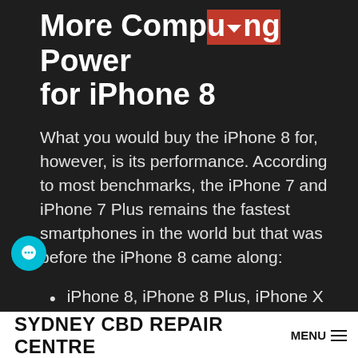More Computing Power for iPhone 8
What you would buy the iPhone 8 for, however, is its performance. According to most benchmarks, the iPhone 7 and iPhone 7 Plus remains the fastest smartphones in the world but that was before the iPhone 8 came along:
iPhone 8, iPhone 8 Plus, iPhone X – Apple A11 'Bionic' chipset: Six Core CPU, Six Core GPU, M11 motion coprocessor.
SYDNEY CBD REPAIR CENTRE  MENU ≡